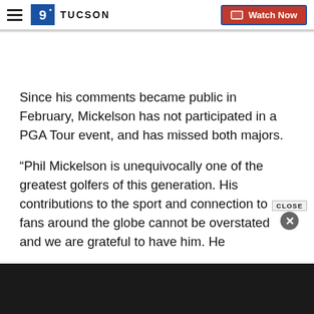9 TUCSON | Watch Now
Since his comments became public in February, Mickelson has not participated in a PGA Tour event, and has missed both majors.
“Phil Mickelson is unequivocally one of the greatest golfers of this generation. His contributions to the sport and connection to fans around the globe cannot be overstated and we are grateful to have him. He